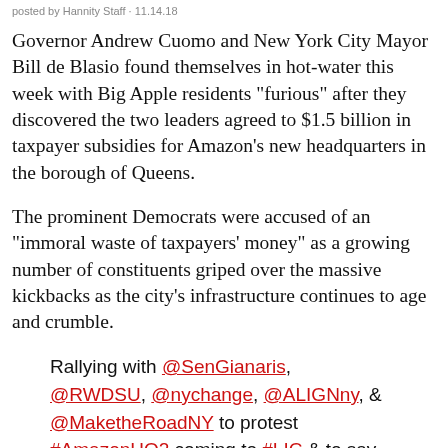posted by Hannity Staff · 11.14.18
Governor Andrew Cuomo and New York City Mayor Bill de Blasio found themselves in hot-water this week with Big Apple residents “furious” after they discovered the two leaders agreed to $1.5 billion in taxpayer subsidies for Amazon’s new headquarters in the borough of Queens.
The prominent Democrats were accused of an “immoral waste of taxpayers’ money” as a growing number of constituents griped over the massive kickbacks as the city’s infrastructure continues to age and crumble.
Rallying with @SenGianaris, @RWDSU, @nychange, @ALIGNny, & @MaketheRoadNY to protest #AmazonHQ2 coming to #LIC & to say NO to corporate welfare for the richest...